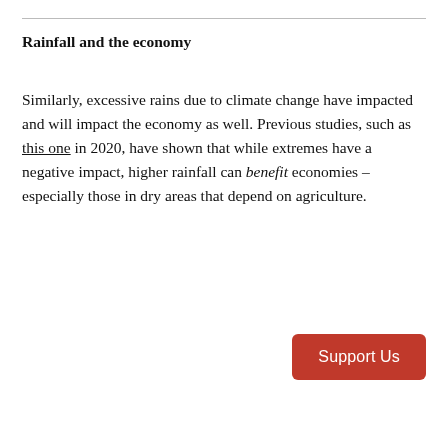Rainfall and the economy
Similarly, excessive rains due to climate change have impacted and will impact the economy as well. Previous studies, such as this one in 2020, have shown that while extremes have a negative impact, higher rainfall can benefit economies – especially those in dry areas that depend on agriculture.
[Figure (other): Red 'Support Us' button]